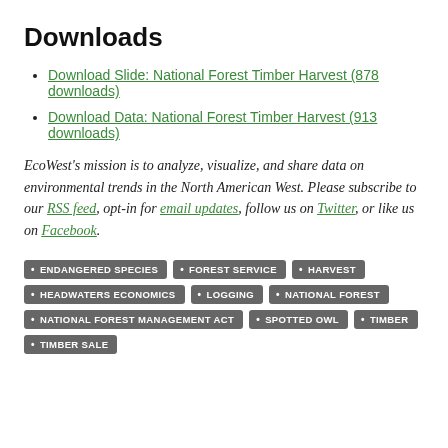Downloads
Download Slide: National Forest Timber Harvest (878 downloads)
Download Data: National Forest Timber Harvest (913 downloads)
EcoWest's mission is to analyze, visualize, and share data on environmental trends in the North American West. Please subscribe to our RSS feed, opt-in for email updates, follow us on Twitter, or like us on Facebook.
ENDANGERED SPECIES • FOREST SERVICE • HARVEST • HEADWATERS ECONOMICS • LOGGING • NATIONAL FOREST • NATIONAL FOREST MANAGEMENT ACT • SPOTTED OWL • TIMBER • TIMBER SALE